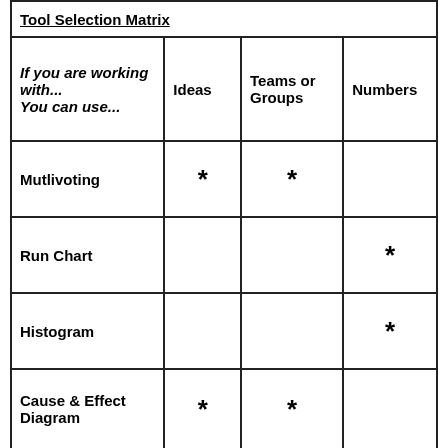| If you are working with... You can use... | Ideas | Teams or Groups | Numbers |
| --- | --- | --- | --- |
| Mutlivoting | * | * |  |
| Run Chart |  |  | * |
| Histogram |  |  | * |
| Cause & Effect Diagram | * | * |  |
| Flow Charts | * | * |  |
| Pareto Diagram |  |  | * |